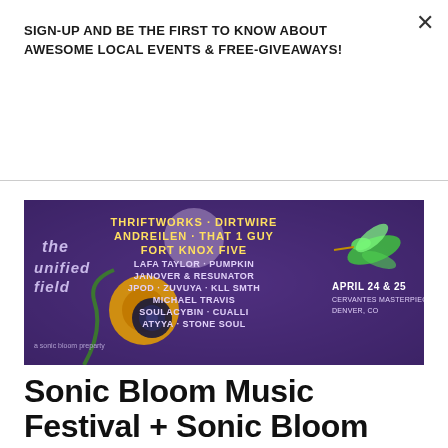SIGN-UP AND BE THE FIRST TO KNOW ABOUT AWESOME LOCAL EVENTS & FREE-GIVEAWAYS!
Subscribe
[Figure (illustration): Event promotional banner for 'The Unified Field - a Sonic Bloom preparty' featuring lineup text: Thriftworks, Dirtwire, Andreilen, That 1 Guy, Fort Knox Five, Lafa Taylor, Pumpkin, Janover & Resunator, Jpod, Zuvuya, Kll Smth, Michael Travis, Soulacybin, Cualli, Atyya, Stone Soul. April 24 & 25, Cervantes Masterpiece, Denver CO. Purple background with sunflower, hummingbird, and speaker imagery.]
Sonic Bloom Music Festival + Sonic Bloom Pre-Party!